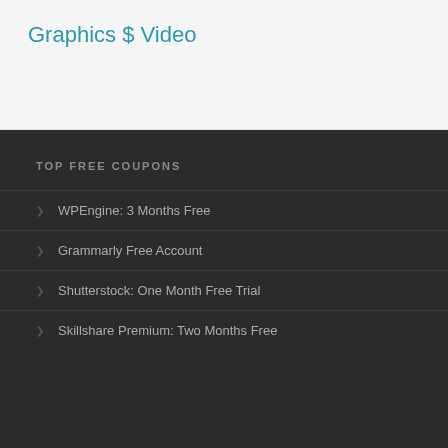Graphics $ Video
TOP FREE COUPONS
WPEngine: 3 Months Free
Grammarly Free Account
Shutterstock: One Month Free Trial
Skillshare Premium: Two Months Free